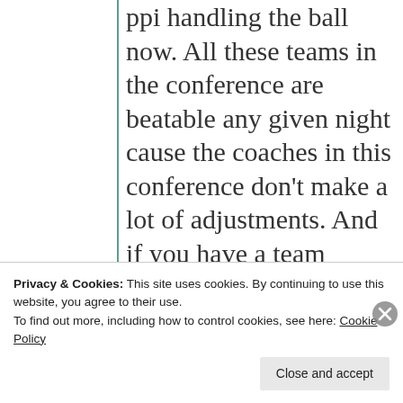ppi handling the ball now. All these teams in the conference are beatable any given night cause the coaches in this conference don't make a lot of adjustments. And if you have a team dependent on one or two star players. You are beatable so the Mount
Privacy & Cookies: This site uses cookies. By continuing to use this website, you agree to their use. To find out more, including how to control cookies, see here: Cookie Policy
Close and accept